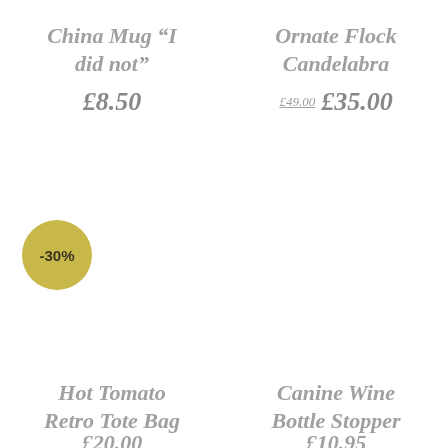China Mug “I did not”
£8.50
Ornate Flock Candelabra
£49.00 £35.00
[Figure (infographic): Gold circular badge with -30% discount label]
Hot Tomato Retro Tote Bag
£20.00
Canine Wine Bottle Stopper
£10.95